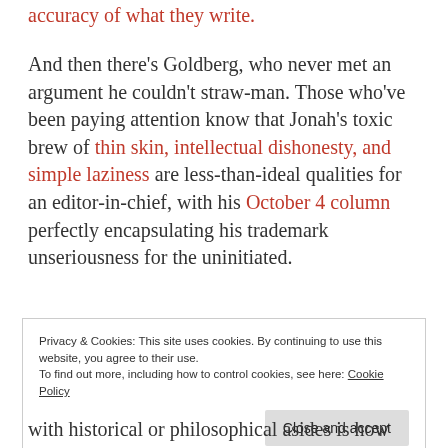accuracy of what they write.
And then there's Goldberg, who never met an argument he couldn't straw-man. Those who've been paying attention know that Jonah's toxic brew of thin skin, intellectual dishonesty, and simple laziness are less-than-ideal qualities for an editor-in-chief, with his October 4 column perfectly encapsulating his trademark unseriousness for the uninitiated.
Privacy & Cookies: This site uses cookies. By continuing to use this website, you agree to their use.
To find out more, including how to control cookies, see here: Cookie Policy
Close and accept
with historical or philosophical asides is how